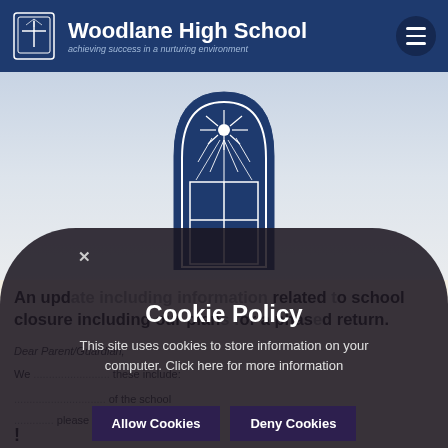Woodlane High School — achieving success in a nurturing environment
[Figure (logo): Woodlane High School crest/logo — arched window with radiating sun rays in navy blue and white]
An update including information related to school closure including our plans for a phased return.
Dear Parent/Guardian,
We ... these include:
... of the school
... please ask that
!
[Figure (screenshot): Dark overlay cookie consent popup with close X button]
Cookie Policy
This site uses cookies to store information on your computer. Click here for more information
Allow Cookies   Deny Cookies